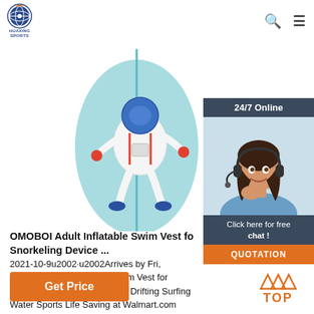[Figure (logo): Huaxing Sports logo - circular badge with globe/compass design and text HUAXING SPORTS below]
[Figure (photo): Light blue inflatable swim vest with astronaut graphic printed on it, shown vertically against white background]
[Figure (photo): 24/7 Online customer service widget showing a smiling woman with headset and buttons for free chat and quotation]
OMOBOI Adult Inflatable Swim Vest fo Snorkeling Device ... 2021-10-9u2002·u2002Arrives by Fri, OMOBOI Adult Inflatable Swim Vest for Snorkeling Device Swimming Drifting Surfing Water Sports Life Saving at Walmart.com
[Figure (other): Orange Get Price button]
[Figure (other): Orange TOP back-to-top button with upward arrows]